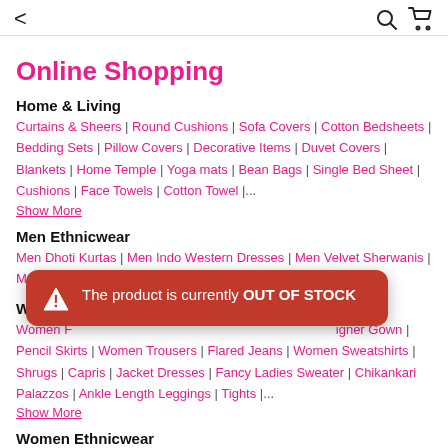< [back] [search] [cart]
Online Shopping
Home & Living
Curtains & Sheers | Round Cushions | Sofa Covers | Cotton Bedsheets | Bedding Sets | Pillow Covers | Decorative Items | Duvet Covers | Blankets | Home Temple | Yoga mats | Bean Bags | Single Bed Sheet | Cushions | Face Towels | Cotton Towel |... Show More
Men Ethnicwear
Men Dhoti Kurtas | Men Indo Western Dresses | Men Velvet Sherwanis | Men Dhotis
Women W
Women F... igner Gown | Pencil Skirts | Women Trousers | Flared Jeans | Women Sweatshirts | Shrugs | Capris | Jacket Dresses | Fancy Ladies Sweater | Chikankari Palazzos | Ankle Length Leggings | Tights |... Show More
[Figure (infographic): Red toast notification overlay: warning triangle icon with text 'The product is currently OUT OF STOCK']
Women Ethnicwear